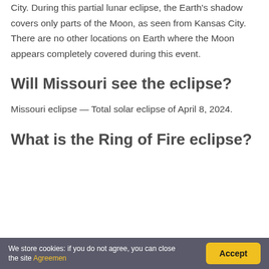City. During this partial lunar eclipse, the Earth's shadow covers only parts of the Moon, as seen from Kansas City. There are no other locations on Earth where the Moon appears completely covered during this event.
Will Missouri see the eclipse?
Missouri eclipse — Total solar eclipse of April 8, 2024.
What is the Ring of Fire eclipse?
We store cookies: if you do not agree, you can close the site Agreemen